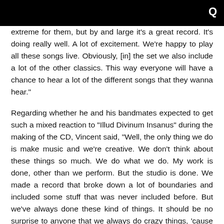extreme for them, but by and large it's a great record. It's doing really well. A lot of excitement. We're happy to play all these songs live. Obviously, [in] the set we also include a lot of the other classics. This way everyone will have a chance to hear a lot of the different songs that they wanna hear."
Regarding whether he and his bandmates expected to get such a mixed reaction to "Illud Divinum Insanus" during the making of the CD, Vincent said, "Well, the only thing we do is make music and we're creative. We don't think about these things so much. We do what we do. My work is done, other than we perform. But the studio is done. We made a record that broke down a lot of boundaries and included some stuff that was never included before. But we've always done these kind of things. It should be no surprise to anyone that we always do crazy things, 'cause we crazy."
"Illud Divinum Insanus" sold around 3,600 copies in the United States in its first week of release to enter The Billboard 200 chart at position No. 141. The effort marks MORBID ANGEL's first CD to